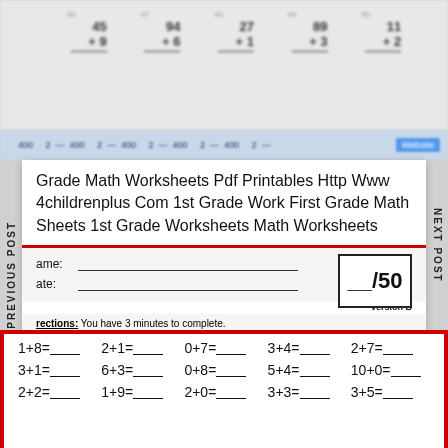[Figure (other): Blurred top portion of a math addition worksheet showing problems: 45+9, 94+6, 27+1, 89+3, 11+2]
Grade Math Worksheets Pdf Printables Http Www 4childrenplus Com 1st Grade Work First Grade Math Sheets 1st Grade Worksheets Math Worksheets
Name: ___________________________________________
Date: ___________________________________________
__/50
Version B
Directions: You have 3 minutes to complete.
1+8=____ 2+1=____ 0+7=____ 3+4=____ 2+7=____
3+1=____ 6+3=____ 0+8=____ 5+4=____ 10+0=____
2+2=____ 1+9=____ 2+0=____ 3+3=____ 3+5=____